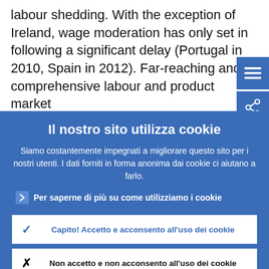labour shedding. With the exception of Ireland, wage moderation has only set in following a significant delay (Portugal in 2010, Spain in 2012). Far-reaching and comprehensive labour and product market
Il nostro sito utilizza cookie
Siamo costantemente impegnati a migliorare questo sito per i nostri utenti. I dati forniti in forma anonima dai cookie ci aiutano a farlo.
Per saperne di più su come utilizziamo i cookie
Capito! Accetto e acconsento all'uso dei cookie
Non accetto e non acconsento all'uso dei cookie